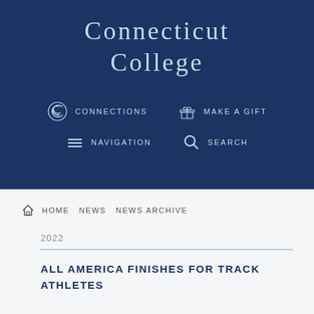Connecticut College
CONNECTIONS
MAKE A GIFT
NAVIGATION
SEARCH
HOME  NEWS  NEWS ARCHIVE
2022
ALL AMERICA FINISHES FOR TRACK ATHLETES